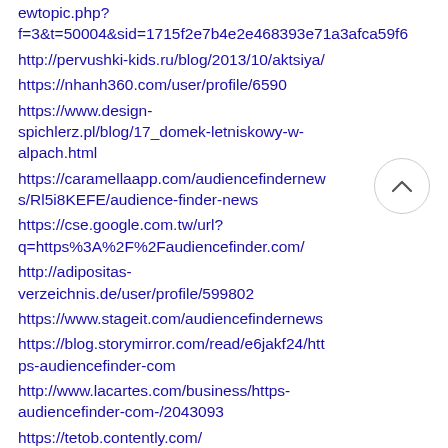ewtopic.php?f=3&t=50004&sid=1715f2e7b4e2e468393e71a3afca59f6
http://pervushki-kids.ru/blog/2013/10/aktsiya/
https://nhanh360.com/user/profile/6590
https://www.design-spichlerz.pl/blog/17_domek-letniskowy-w-alpach.html
https://caramellaapp.com/audiencefindernews/Rl5i8KEFE/audience-finder-news
https://cse.google.com.tw/url?q=https%3A%2F%2Faudiencefinder.com/
http://adipositas-verzeichnis.de/user/profile/599802
https://www.stageit.com/audiencefindernews
https://blog.storymirror.com/read/e6jakf24/https-audiencefinder-com
http://www.lacartes.com/business/https-audiencefinder-com-/2043093
https://tetob.contently.com/
https://confengine.com/user/audience-finder-news